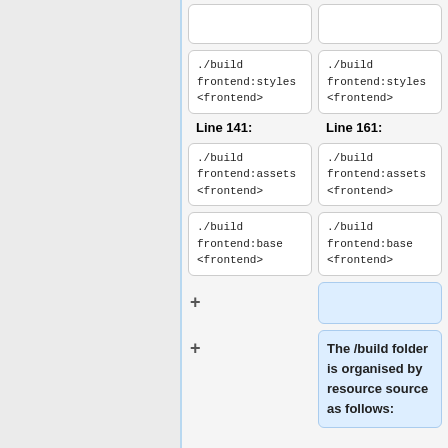[Figure (screenshot): Diff view showing two columns of code boxes with ./build frontend:styles <frontend>, ./build frontend:assets <frontend>, ./build frontend:base <frontend> entries, plus added lines in blue on the right column including an empty box and a text box about /build folder organisation.]
Line 141:
Line 161:
./build frontend:assets <frontend>
./build frontend:base <frontend>
The /build folder is organised by resource source as follows: